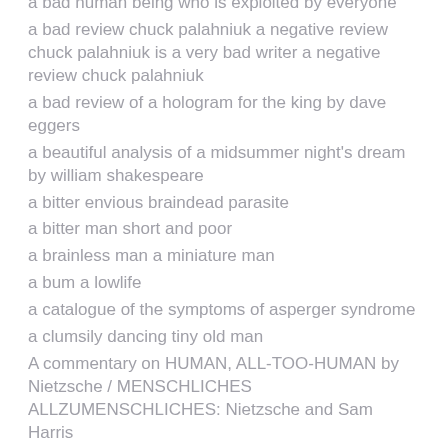a bad human being who is exploited by everyone
a bad review chuck palahniuk a negative review chuck palahniuk is a very bad writer a negative review chuck palahniuk
a bad review of a hologram for the king by dave eggers
a beautiful analysis of a midsummer night's dream by william shakespeare
a bitter envious braindead parasite
a bitter man short and poor
a brainless man a miniature man
a bum a lowlife
a catalogue of the symptoms of asperger syndrome
a clumsily dancing tiny old man
A commentary on HUMAN, ALL-TOO-HUMAN by Nietzsche / MENSCHLICHES ALLZUMENSCHLICHES: Nietzsche and Sam Harris
a commentary on la belle dame sans merci
a commentary on la belle dame sans merci poem
a coward a weak little man